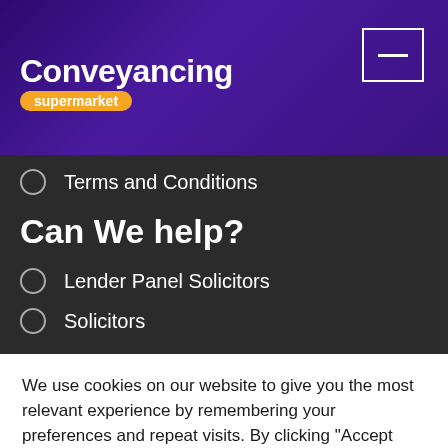Conveyancing supermarket
Terms and Conditions
Can We help?
Lender Panel Solicitors
Solicitors
We use cookies on our website to give you the most relevant experience by remembering your preferences and repeat visits. By clicking "Accept All", you consent to the use of ALL the cookies. However, you may visit "Cookie Settings" to provide a controlled consent.
Cookie Settings | Accept All